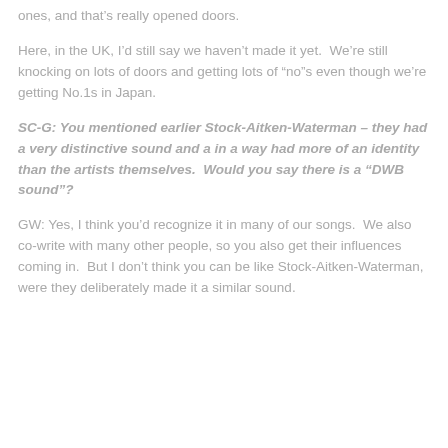ones, and that’s really opened doors.
Here, in the UK, I’d still say we haven’t made it yet.  We’re still knocking on lots of doors and getting lots of “no”s even though we’re getting No.1s in Japan.
SC-G: You mentioned earlier Stock-Aitken-Waterman – they had a very distinctive sound and a in a way had more of an identity than the artists themselves.  Would you say there is a “DWB sound”?
GW: Yes, I think you’d recognize it in many of our songs.  We also co-write with many other people, so you also get their influences coming in.  But I don’t think you can be like Stock-Aitken-Waterman, were they deliberately made it a similar sound.